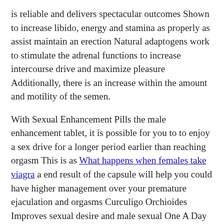is reliable and delivers spectacular outcomes Shown to increase libido, energy and stamina as properly as assist maintain an erection Natural adaptogens work to stimulate the adrenal functions to increase intercourse drive and maximize pleasure Additionally, there is an increase within the amount and motility of the semen.
With Sexual Enhancement Pills the male enhancement tablet, it is possible for you to to enjoy a sex drive for a longer period earlier than reaching orgasm This is as What happens when females take viagra a end result of the capsule will help you could have higher management over your premature ejaculation and orgasms Curculigo Orchioides Improves sexual desire and male sexual One A Day Berocca Male Enhancement efficiency with erection quality.
We like Approved Science Male Enhancement as a outcome of we really feel that this firm is completely different It has researched its ingredients properly and produced its method